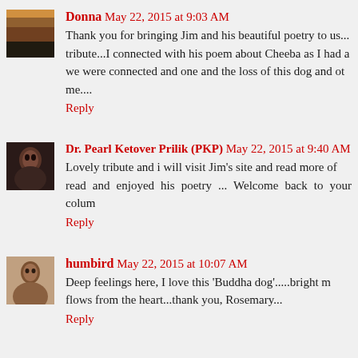Donna May 22, 2015 at 9:03 AM
Thank you for bringing Jim and his beautiful poetry to us...tribute...I connected with his poem about Cheeba as I had a we were connected and one and the loss of this dog and ot me....
Reply
Dr. Pearl Ketover Prilik (PKP) May 22, 2015 at 9:40 AM
Lovely tribute and i will visit Jim's site and read more of read and enjoyed his poetry ... Welcome back to your colum
Reply
humbird May 22, 2015 at 10:07 AM
Deep feelings here, I love this 'Buddha dog'.....bright m flows from the heart...thank you, Rosemary...
Reply